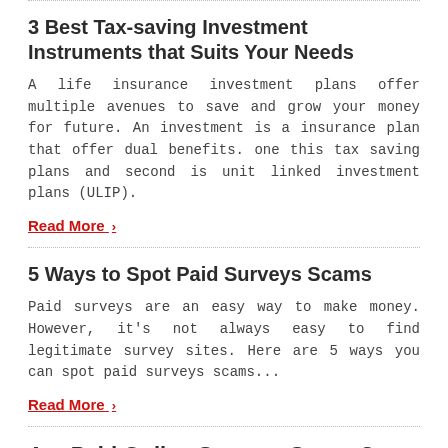3 Best Tax-saving Investment Instruments that Suits Your Needs
A life insurance investment plans offer multiple avenues to save and grow your money for future. An investment is a insurance plan that offer dual benefits. one this tax saving plans and second is unit linked investment plans (ULIP).
Read More ›
5 Ways to Spot Paid Surveys Scams
Paid surveys are an easy way to make money. However, it's not always easy to find legitimate survey sites. Here are 5 ways you can spot paid surveys scams...
Read More ›
Are Paid Online Surveys Scams?